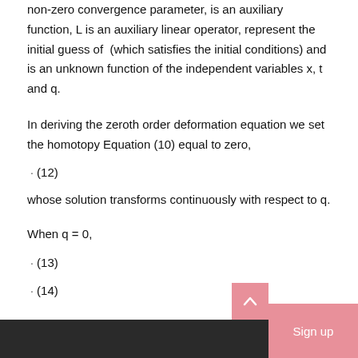non-zero convergence parameter, is an auxiliary function, L is an auxiliary linear operator, represent the initial guess of (which satisfies the initial conditions) and is an unknown function of the independent variables x, t and q.
In deriving the zeroth order deformation equation we set the homotopy Equation (10) equal to zero,
whose solution transforms continuously with respect to q.
When q = 0,
Sign up